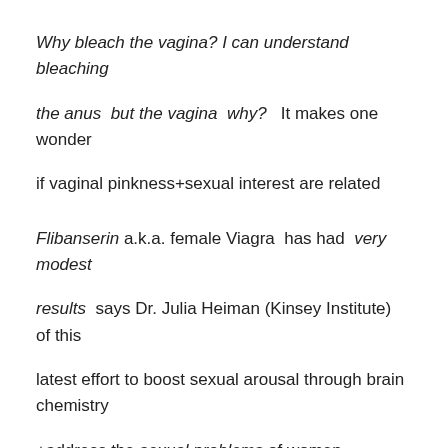Why bleach the vagina? I can understand bleaching the anus  but the vagina  why?   It makes one wonder if vaginal pinkness+sexual interest are related
Flibanserin a.k.a. female Viagra  has had  very modest results  says Dr. Julia Heiman (Kinsey Institute)  of this latest effort to boost sexual arousal through brain chemistry  +address the sexual problems of women